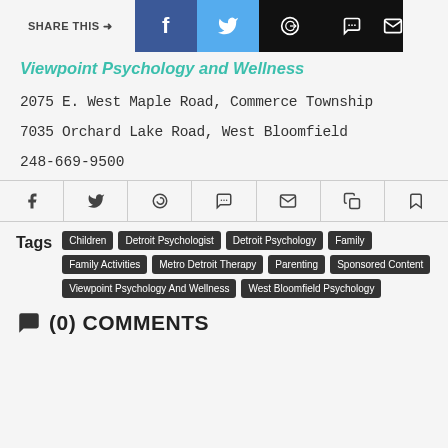SHARE THIS →
Viewpoint Psychology and Wellness
2075 E. West Maple Road, Commerce Township
7035 Orchard Lake Road, West Bloomfield
248-669-9500
Tags: Children, Detroit Psychologist, Detroit Psychology, Family, Family Activities, Metro Detroit Therapy, Parenting, Sponsored Content, Viewpoint Psychology And Wellness, West Bloomfield Psychology
(0) COMMENTS